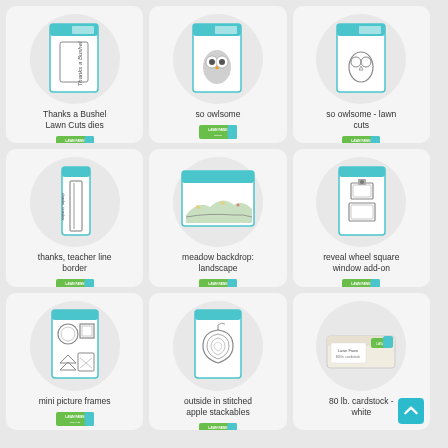[Figure (photo): Product card: Thanks a Bushel Lawn Cuts dies - die cutting set package image with Lawn Fawn logo]
Thanks a Bushel Lawn Cuts dies
[Figure (photo): Product card: so owlsome - stamp set package with owl illustration, Lawn Fawn logo]
so owlsome
[Figure (photo): Product card: so owlsome - lawn cuts - die set package, Lawn Fawn logo]
so owlsome - lawn cuts
[Figure (photo): Product card: thanks, teacher line border - tall narrow die set with handwritten-style border, Lawn Fawn logo]
thanks, teacher line border
[Figure (photo): Product card: meadow backdrop landscape - large die set creating meadow scene, Lawn Fawn logo]
meadow backdrop: landscape
[Figure (photo): Product card: reveal wheel square window add-on - die set with square frames, Lawn Fawn logo]
reveal wheel square window add-on
[Figure (photo): Product card: mini picture frames - die set with various frame shapes, Lawn Fawn logo]
mini picture frames
[Figure (photo): Product card: outside in stitched apple stackables - die set with concentric apple shapes, Lawn Fawn logo]
outside in stitched apple stackables
[Figure (photo): Product card: 80 lb. cardstock - white - cardstock package image, Lawn Fawn logo; scroll-to-top button]
80 lb. cardstock - white